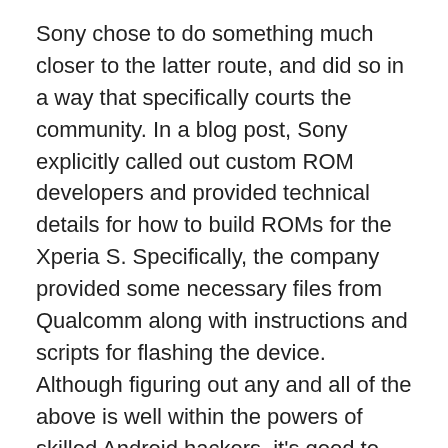Sony chose to do something much closer to the latter route, and did so in a way that specifically courts the community. In a blog post, Sony explicitly called out custom ROM developers and provided technical details for how to build ROMs for the Xperia S. Specifically, the company provided some necessary files from Qualcomm along with instructions and scripts for flashing the device. Although figuring out any and all of the above is well within the powers of skilled Android hackers, it's good to see Sony continuing to reach out.
It's not uncommon to see underdogs reach out to hackers as a way to gain some traction in the market — and in the Android space Sony certainly qualifies as an underdog. If the newly minted Sony...